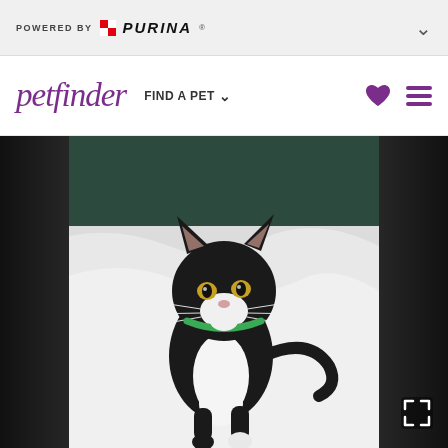POWERED BY PURINA
[Figure (logo): Petfinder navigation bar with logo, FIND A PET dropdown, heart icon and menu icon]
[Figure (photo): A small black and white tuxedo kitten with a green collar sitting on white fabric/bedding, looking at the camera. Dark background visible on left and right edges.]